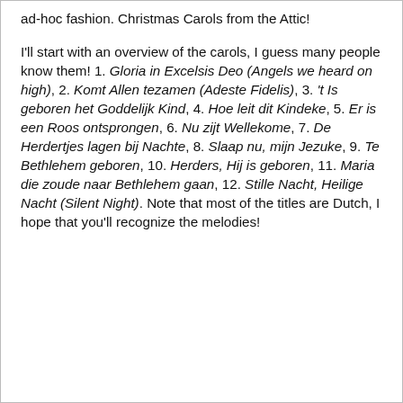ad-hoc fashion. Christmas Carols from the Attic!
I'll start with an overview of the carols, I guess many people know them! 1. Gloria in Excelsis Deo (Angels we heard on high), 2. Komt Allen tezamen (Adeste Fidelis), 3. 't Is geboren het Goddelijk Kind, 4. Hoe leit dit Kindeke, 5. Er is een Roos ontsprongen, 6. Nu zijt Wellekome, 7. De Herdertjes lagen bij Nachte, 8. Slaap nu, mijn Jezuke, 9. Te Bethlehem geboren, 10. Herders, Hij is geboren, 11. Maria die zoude naar Bethlehem gaan, 12. Stille Nacht, Heilige Nacht (Silent Night). Note that most of the titles are Dutch, I hope that you'll recognize the melodies!